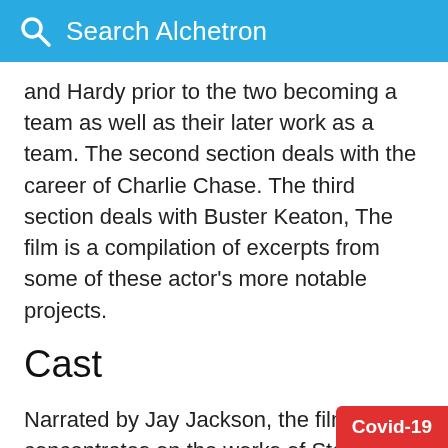Search Alchetron
and Hardy prior to the two becoming a team as well as their later work as a team. The second section deals with the career of Charlie Chase. The third section deals with Buster Keaton, The film is a compilation of excerpts from some of these actor's more notable projects.
Cast
Narrated by Jay Jackson, the film concentrates on the works of Stan Laurel, Oliver Hardy, Charley Chase, and Buster Keaton.
Included in film's excerpts are actors Jean Lori Bara, T. Roy Barnes, Bartine Burkett, Rosalind
Covid-19